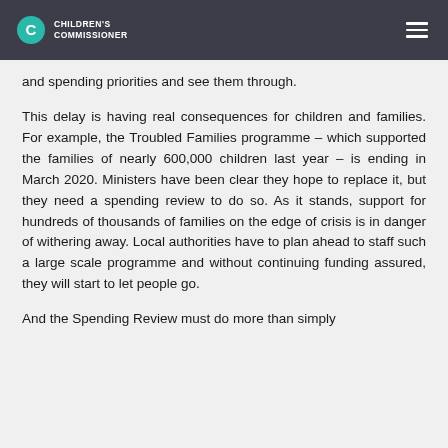Children's Commissioner
and spending priorities and see them through.
This delay is having real consequences for children and families. For example, the Troubled Families programme – which supported the families of nearly 600,000 children last year – is ending in March 2020. Ministers have been clear they hope to replace it, but they need a spending review to do so. As it stands, support for hundreds of thousands of families on the edge of crisis is in danger of withering away. Local authorities have to plan ahead to staff such a large scale programme and without continuing funding assured, they will start to let people go.
And the Spending Review must do more than simply